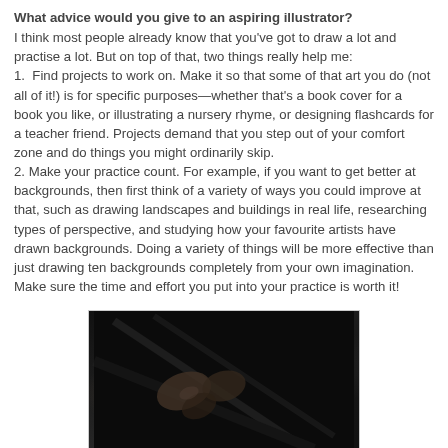What advice would you give to an aspiring illustrator?
I think most people already know that you've got to draw a lot and practise a lot. But on top of that, two things really help me:
1.  Find projects to work on. Make it so that some of that art you do (not all of it!) is for specific purposes—whether that's a book cover for a book you like, or illustrating a nursery rhyme, or designing flashcards for a teacher friend. Projects demand that you step out of your comfort zone and do things you might ordinarily skip.
2. Make your practice count. For example, if you want to get better at backgrounds, then first think of a variety of ways you could improve at that, such as drawing landscapes and buildings in real life, researching types of perspective, and studying how your favourite artists have drawn backgrounds. Doing a variety of things will be more effective than just drawing ten backgrounds completely from your own imagination. Make sure the time and effort you put into your practice is worth it!
[Figure (photo): Dark black and white photograph showing hands or drawing tools, possibly pencils or art implements, in a dark close-up composition]